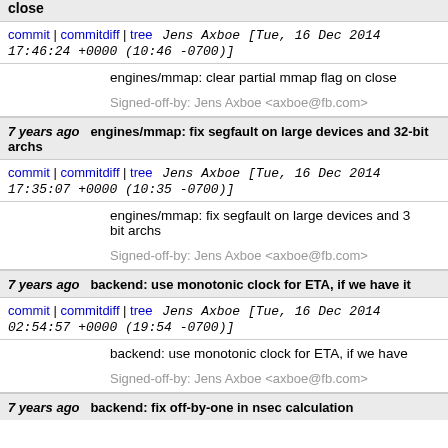close
commit | commitdiff | tree   Jens Axboe [Tue, 16 Dec 2014 17:46:24 +0000 (10:46 -0700)]
engines/mmap: clear partial mmap flag on close

Signed-off-by: Jens Axboe <axboe@fb.com>
7 years ago   engines/mmap: fix segfault on large devices and 32-bit archs
commit | commitdiff | tree   Jens Axboe [Tue, 16 Dec 2014 17:35:07 +0000 (10:35 -0700)]
engines/mmap: fix segfault on large devices and 32-bit archs

Signed-off-by: Jens Axboe <axboe@fb.com>
7 years ago   backend: use monotonic clock for ETA, if we have it
commit | commitdiff | tree   Jens Axboe [Tue, 16 Dec 2014 02:54:57 +0000 (19:54 -0700)]
backend: use monotonic clock for ETA, if we have it

Signed-off-by: Jens Axboe <axboe@fb.com>
7 years ago   backend: fix off-by-one in nsec calculation